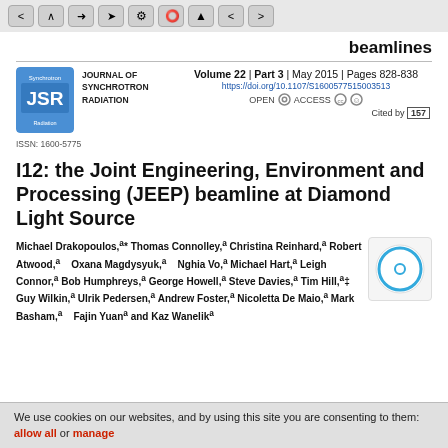beamlines
[Figure (logo): Journal of Synchrotron Radiation JSR logo, blue square with JSR text]
JOURNAL OF SYNCHROTRON RADIATION
ISSN: 1600-5775
Volume 22 | Part 3 | May 2015 | Pages 828-838
https://doi.org/10.1107/S1600577515003513
OPEN ACCESS
Cited by 157
I12: the Joint Engineering, Environment and Processing (JEEP) beamline at Diamond Light Source
Michael Drakopoulos,a* Thomas Connolley,a Christina Reinhard,a Robert Atwood,a Oxana Magdysyuk,a Nghia Vo,a Michael Hart,a Leigh Connor,a Bob Humphreys,a George Howell,a Steve Davies,a Tim Hill,a‡ Guy Wilkin,a Ulrik Pedersen,a Andrew Foster,a Nicoletta De Maio,a Mark Basham,a Fajin Yuana and Kaz Wanelikа
We use cookies on our websites, and by using this site you are consenting to them: allow all or manage